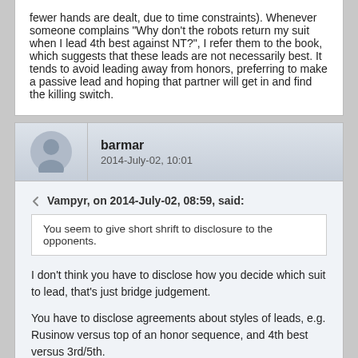fewer hands are dealt, due to time constraints). Whenever someone complains "Why don't the robots return my suit when I lead 4th best against NT?", I refer them to the book, which suggests that these leads are not necessarily best. It tends to avoid leading away from honors, preferring to make a passive lead and hoping that partner will get in and find the killing switch.
barmar
2014-July-02, 10:01
Vampyr, on 2014-July-02, 08:59, said:
You seem to give short shrift to disclosure to the opponents.
I don't think you have to disclose how you decide which suit to lead, that's just bridge judgement.
You have to disclose agreements about styles of leads, e.g. Rusinow versus top of an honor sequence, and 4th best versus 3rd/5th.
Note also that an agreement to lead 4th best doesn't mean that the lead of a low card promises at least 4 cards in the suit, or that you